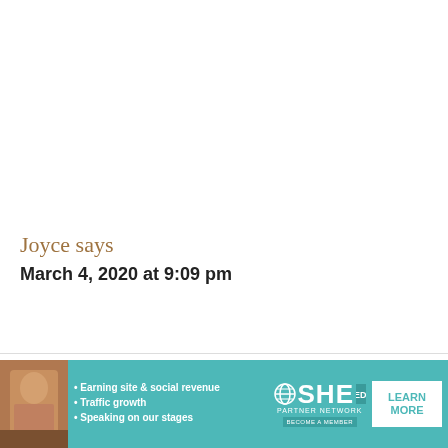Joyce says
March 4, 2020 at 9:09 pm
[Figure (infographic): Advertisement banner for SHE Media Partner Network featuring a woman photo, bullet points: Earning site & social revenue, Traffic growth, Speaking on our stages, SHE logo, LEARN MORE button, BECOME A MEMBER tagline]